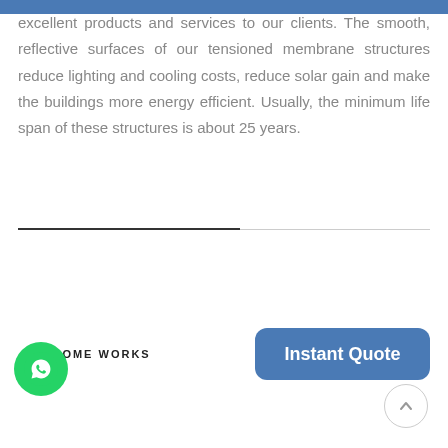excellent products and services to our clients. The smooth, reflective surfaces of our tensioned membrane structures reduce lighting and cooling costs, reduce solar gain and make the buildings more energy efficient. Usually, the minimum life span of these structures is about 25 years.
AWESOME WORKS
[Figure (other): Instant Quote button (blue rounded rectangle) and WhatsApp chat button (green circle with WhatsApp icon) and scroll-to-top button (circle with up chevron)]